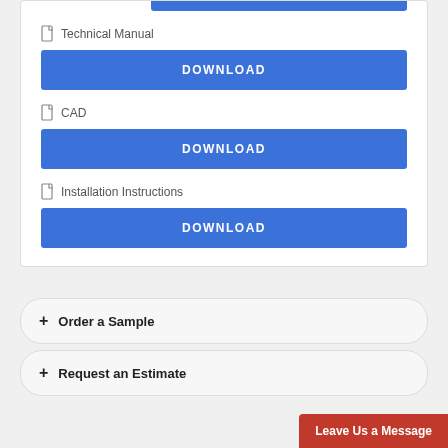Technical Manual
DOWNLOAD
CAD
DOWNLOAD
Installation Instructions
DOWNLOAD
+ Order a Sample
+ Request an Estimate
Leave Us a Message